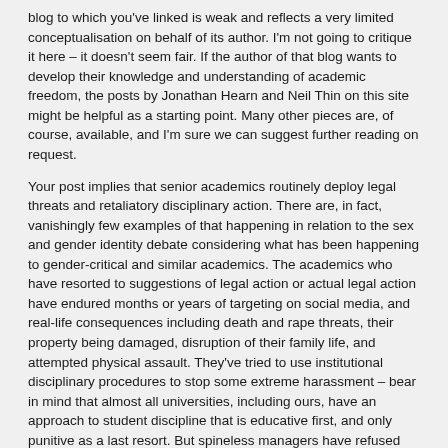blog to which you've linked is weak and reflects a very limited conceptualisation on behalf of its author. I'm not going to critique it here – it doesn't seem fair. If the author of that blog wants to develop their knowledge and understanding of academic freedom, the posts by Jonathan Hearn and Neil Thin on this site might be helpful as a starting point. Many other pieces are, of course, available, and I'm sure we can suggest further reading on request.
Your post implies that senior academics routinely deploy legal threats and retaliatory disciplinary action. There are, in fact, vanishingly few examples of that happening in relation to the sex and gender identity debate considering what has been happening to gender-critical and similar academics. The academics who have resorted to suggestions of legal action or actual legal action have endured months or years of targeting on social media, and real-life consequences including death and rape threats, their property being damaged, disruption of their family life, and attempted physical assault. They've tried to use institutional disciplinary procedures to stop some extreme harassment – bear in mind that almost all universities, including ours, have an approach to student discipline that is educative first, and only punitive as a last resort. But spineless managers have refused even to take disciplinary action that is pastoral and educative in nature, for example working with students to help them understand the consequences of publishing defamatory material. In the tiny number of cases where an academic has threatened